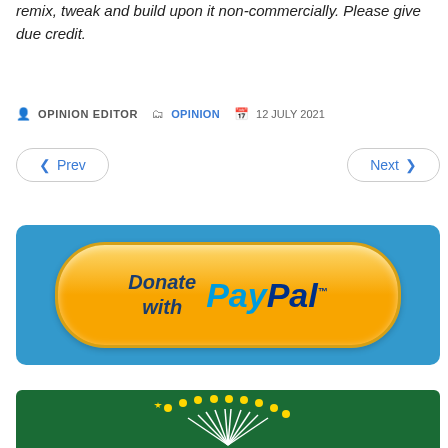remix, tweak and build upon it non-commercially. Please give due credit.
OPINION EDITOR   OPINION   12 JULY 2021
◀ Prev    Next ▶
[Figure (logo): Donate with PayPal button on blue background]
[Figure (illustration): African Union flag - green background with yellow stars and white sun/rays emblem]